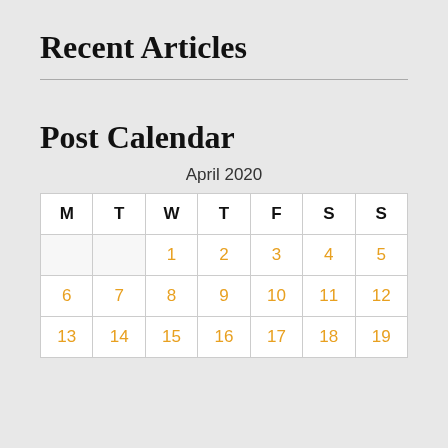Recent Articles
Post Calendar
April 2020
| M | T | W | T | F | S | S |
| --- | --- | --- | --- | --- | --- | --- |
|  |  | 1 | 2 | 3 | 4 | 5 |
| 6 | 7 | 8 | 9 | 10 | 11 | 12 |
| 13 | 14 | 15 | 16 | 17 | 18 | 19 |